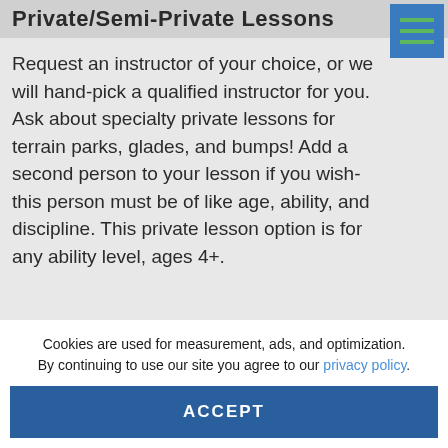Private/Semi-Private Lessons
Request an instructor of your choice, or we will hand-pick a qualified instructor for you. Ask about specialty private lessons for terrain parks, glades, and bumps! Add a second person to your lesson if you wish- this person must be of like age, ability, and discipline. This private lesson option is for any ability level, ages 4+.
Cookies are used for measurement, ads, and optimization. By continuing to use our site you agree to our privacy policy.
ACCEPT